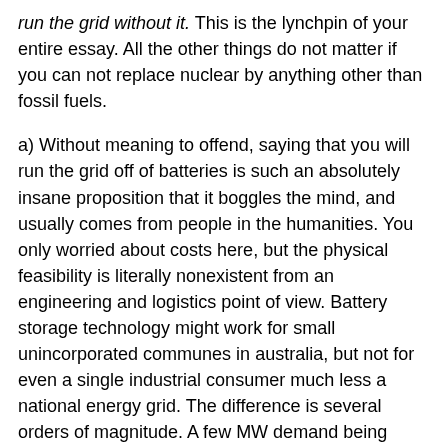run the grid without it. This is the lynchpin of your entire essay. All the other things do not matter if you can not replace nuclear by anything other than fossil fuels.
a) Without meaning to offend, saying that you will run the grid off of batteries is such an absolutely insane proposition that it boggles the mind, and usually comes from people in the humanities. You only worried about costs here, but the physical feasibility is literally nonexistent from an engineering and logistics point of view. Battery storage technology might work for small unincorporated communes in australia, but not for even a single industrial consumer much less a national energy grid. The difference is several orders of magnitude. A few MW demand being smoothed over for a few hours, which musks australian battery farm is capable of, is less than the demand of a single steel mill. The same battery farm by the way also failed to function in four months in 2019 for which the operator is now being sued. Normally out there ideas that musk has can be supported, but even he doesn't think this tech could carry the grid. Thinking that it could is lunacy. Apart from the lack of scale, there are other engineering issues like the incredible fire hazard, the non solved logistics of large scale (or even consumer scale) battery recycling, storage losses